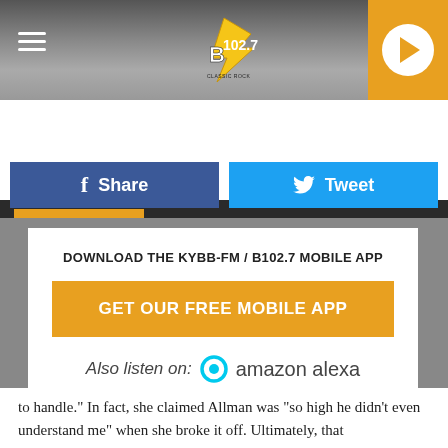[Figure (screenshot): B102.7 radio station website header with logo, hamburger menu, and orange play button]
LISTEN NOW ▶  ULTIMATE CLASSIC ROCK WEEKENDS
Share  Tweet
DOWNLOAD THE KYBB-FM / B102.7 MOBILE APP
GET OUR FREE MOBILE APP
Also listen on:  amazon alexa
to handle." In fact, she claimed Allman was "so high he didn't even understand me" when she broke it off. Ultimately, that